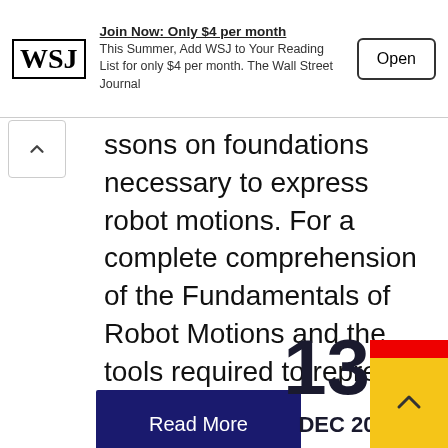[Figure (screenshot): WSJ promotional banner: WSJ logo, text 'Join Now: Only $4 per month. This Summer, Add WSJ to Your Reading List for only $4 per month. The Wall Street Journal', and an 'Open' button.]
ssons on foundations necessary to express robot motions. For a complete comprehension of the Fundamentals of Robot Motions and the tools required to represent the…
[Figure (screenshot): Dark navy 'Read More' button]
[Figure (screenshot): Partial YouTube red button/box visible at right edge]
13
DEC 2021